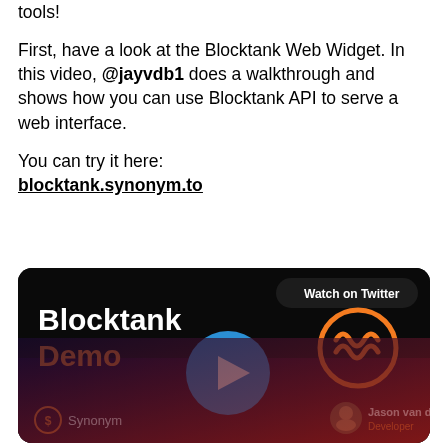tools!

First, have a look at the Blocktank Web Widget. In this video, @jayvdb1 does a walkthrough and shows how you can use Blocktank API to serve a web interface.

You can try it here:
blocktank.synonym.to
[Figure (screenshot): Video thumbnail showing 'Blocktank Demo' text on a dark background with a blue play button in the center, a 'Watch on Twitter' button top right, a Synonym logo/icon (orange circle with wavy lines) on the right, Synonym branding bottom left, and Jason van den Berg Developer credit bottom right.]